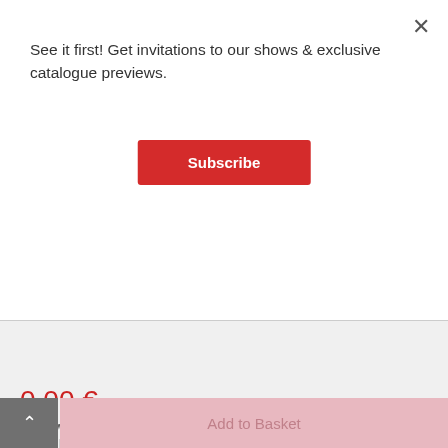See it first! Get invitations to our shows & exclusive catalogue previews.
Subscribe
Acryl, Kreidemarker, Sprühfarbe auf originaler Spielkarte, 12,7 x 17,8 cm, im schwarzen Holzrahmen, schwebend montiert Acrylics, chalk ink, spraypaint on original playing card, 5 x 7 in, comes in black wood frame, floating mount
0,00 €
inkl. MwSt, zzgl. Versandkosten
SOLD
Add to Basket